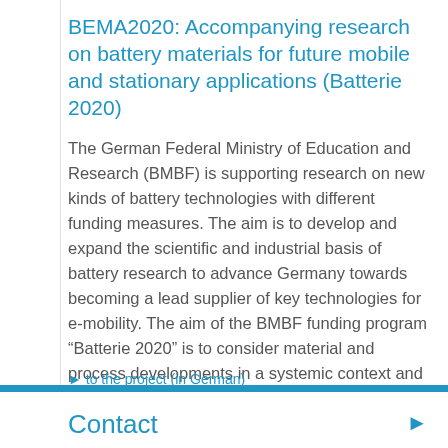BEMA2020: Accompanying research on battery materials for future mobile and stationary applications (Batterie 2020)
The German Federal Ministry of Education and Research (BMBF) is supporting research on new kinds of battery technologies with different funding measures. The aim is to develop and expand the scientific and industrial basis of battery research to advance Germany towards becoming a lead supplier of key technologies for e-mobility. The aim of the BMBF funding program “Batterie 2020” is to consider material and process developments in a systemic context and to significantly improve battery properties such as energy density, power density, lifespan, safety, aging and costs.
Contact